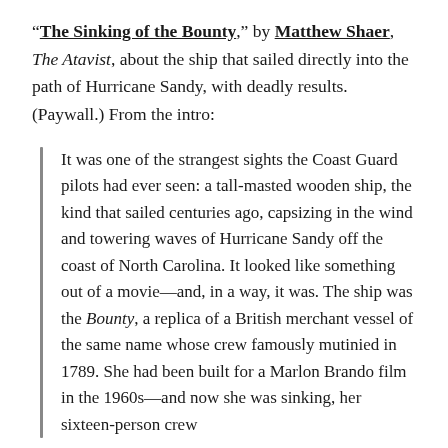“The Sinking of the Bounty,” by Matthew Shaer, The Atavist, about the ship that sailed directly into the path of Hurricane Sandy, with deadly results. (Paywall.) From the intro:
It was one of the strangest sights the Coast Guard pilots had ever seen: a tall-masted wooden ship, the kind that sailed centuries ago, capsizing in the wind and towering waves of Hurricane Sandy off the coast of North Carolina. It looked like something out of a movie—and, in a way, it was. The ship was the Bounty, a replica of a British merchant vessel of the same name whose crew famously mutinied in 1789. She had been built for a Marlon Brando film in the 1960s—and now she was sinking, her sixteen-person crew